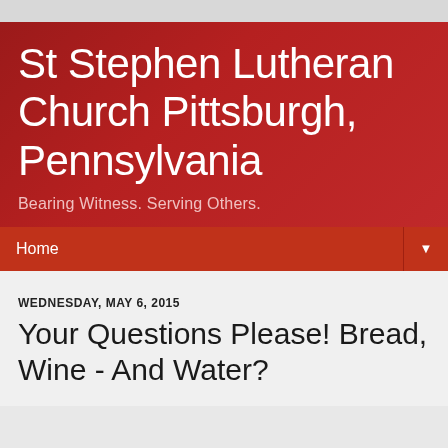St Stephen Lutheran Church Pittsburgh, Pennsylvania
Bearing Witness. Serving Others.
Home
WEDNESDAY, MAY 6, 2015
Your Questions Please! Bread, Wine - And Water?